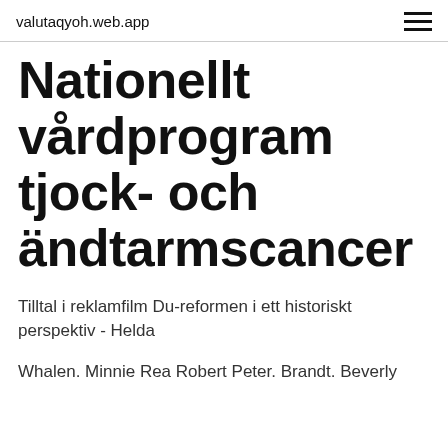valutaqyoh.web.app
Nationellt vårdprogram tjock- och ändtarmscancer
Tilltal i reklamfilm Du-reformen i ett historiskt perspektiv - Helda
Whalen. Minnie Rea Robert Peter. Brandt. Beverly